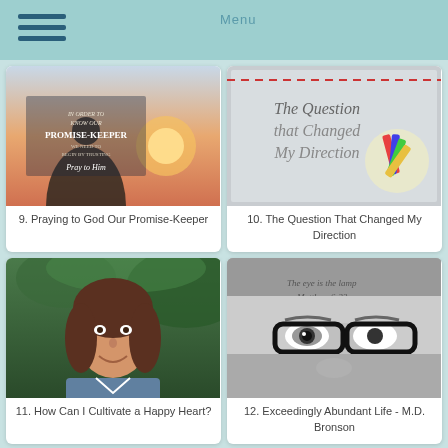[Figure (photo): Book cover for 'Praying to God Our Promise-Keeper' — shows a silhouette against sunset]
9. Praying to God Our Promise-Keeper
[Figure (photo): Graphic with cursive text 'The Question that Changed My Direction' with decorative pencil/clip image]
10. The Question That Changed My Direction
[Figure (photo): Portrait photo of a smiling woman with brown hair]
11. How Can I Cultivate a Happy Heart?
[Figure (photo): Black and white close-up of an eye with glasses and a cap with scripture text; Matthew 6:22]
12. Exceedingly Abundant Life - M.D. Bronson
[Figure (photo): Partial image of a person outdoors (bottom row left)]
[Figure (photo): Partial image with colorful yarn or craft (bottom row right)]